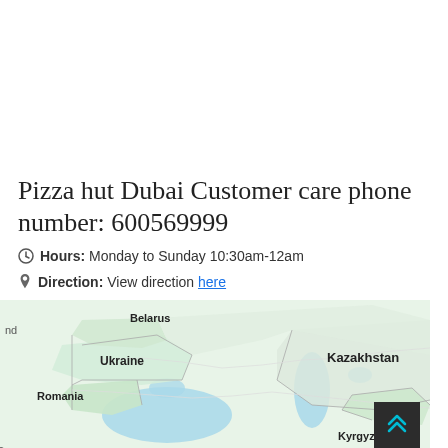Pizza hut Dubai Customer care phone number: 600569999
Hours: Monday to Sunday 10:30am-12am
Direction: View direction here
[Figure (map): Google Maps screenshot showing Eastern Europe and Central Asia including Belarus, Ukraine, Romania, Greece, Kazakhstan, Kyrgyzstan, and Turkmenistan regions with country border overlays and teal-colored water bodies.]